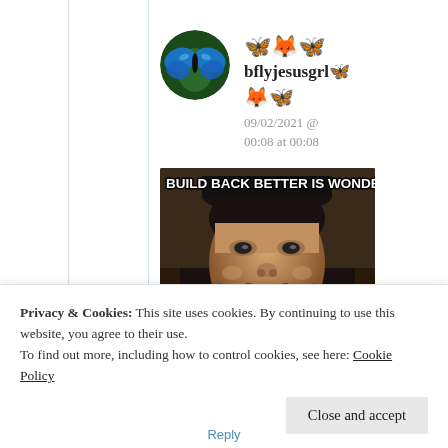[Figure (screenshot): Social media post by user bflyjesusgrl with butterfly emoji in username and post header. Shows avatar of a blue butterfly on green background. Post dated 09/02/2021 @ 00:08 at 00:08. Contains a meme image with text BUILD BACK BETTER IS WONDERFUL showing a bearded man smiling.]
Privacy & Cookies: This site uses cookies. By continuing to use this website, you agree to their use.
To find out more, including how to control cookies, see here: Cookie Policy
Close and accept
Reply